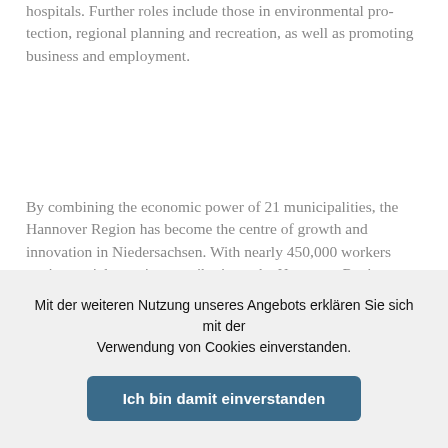hospitals. Further roles include those in environmental protection, regional planning and recreation, as well as promoting business and employment.
By combining the economic power of 21 municipalities, the Hannover Region has become the centre of growth and innovation in Niedersachsen. With nearly 450,000 workers paying social security contributions, the Hannover Region provides about 18 per cent of the jobs in Niedersachsen and accounts for nearly 20 per cent of the state's gross domestic
Mit der weiteren Nutzung unseres Angebots erklären Sie sich mit der Verwendung von Cookies einverstanden.
Ich bin damit einverstanden